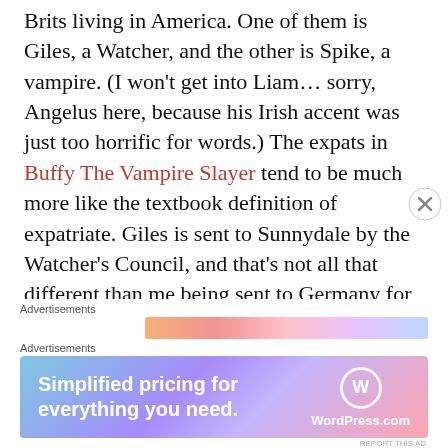Brits living in America. One of them is Giles, a Watcher, and the other is Spike, a vampire. (I won't get into Liam… sorry, Angelus here, because his Irish accent was just too horrific for words.) The expats in Buffy The Vampire Slayer tend to be much more like the textbook definition of expatriate. Giles is sent to Sunnydale by the Watcher's Council, and that's not all that different than me being sent to Germany for my job. As for Spike, I suppose when you've lived for a hundred years or more, it makes sense to try to live somewhere different.
Advertisements
[Figure (other): Partially visible advertisement banner strip with gradient colors (orange, pink, lavender, blue) with an X close button]
Advertisements
[Figure (other): WordPress.com advertisement banner reading 'Simplified pricing for everything you need.' with WordPress logo on gradient purple-pink background]